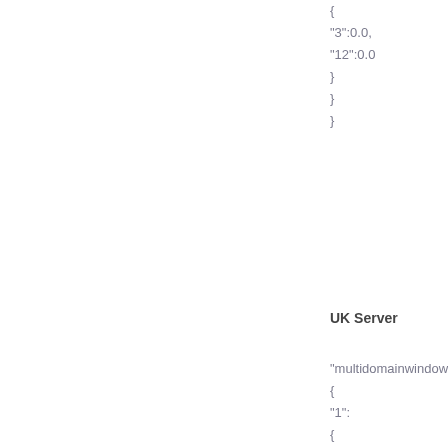{
"3":0.0,
"12":0.0
}
}
}
UK Server
"multidomainwindowsh
{
"1":
{
"renew":
{
"3":0.0,
"12":0.0
},
"ssl":0.0,